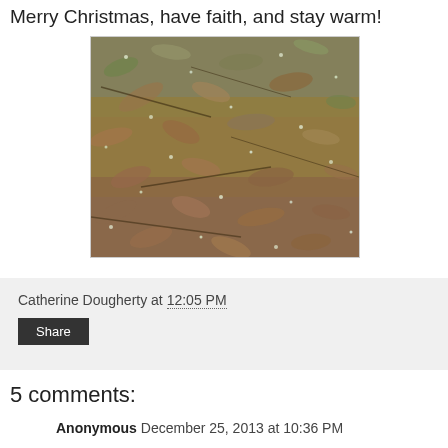Merry Christmas, have faith, and stay warm!
[Figure (photo): Close-up photograph of fallen autumn/winter leaves and ground cover with frost or ice crystals]
Catherine Dougherty at 12:05 PM
Share
5 comments:
Anonymous December 25, 2013 at 10:36 PM